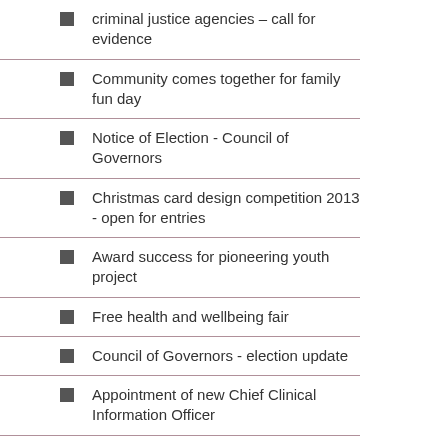criminal justice agencies – call for evidence
Community comes together for family fun day
Notice of Election - Council of Governors
Christmas card design competition 2013 - open for entries
Award success for pioneering youth project
Free health and wellbeing fair
Council of Governors - election update
Appointment of new Chief Clinical Information Officer
2013 National Community Mental Health Service User Survey results
Free member seminars – World Mental Health Day
Pupils challenged to Mind their Matter